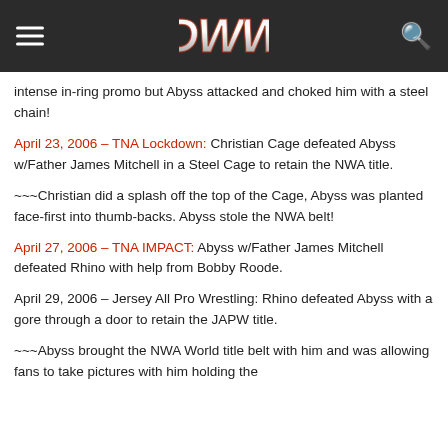DWW
intense in-ring promo but Abyss attacked and choked him with a steel chain!
April 23, 2006 – TNA Lockdown: Christian Cage defeated Abyss w/Father James Mitchell in a Steel Cage to retain the NWA title.
~~~Christian did a splash off the top of the Cage, Abyss was planted face-first into thumb-backs. Abyss stole the NWA belt!
April 27, 2006 – TNA IMPACT: Abyss w/Father James Mitchell defeated Rhino with help from Bobby Roode.
April 29, 2006 – Jersey All Pro Wrestling: Rhino defeated Abyss with a gore through a door to retain the JAPW title.
~~~Abyss brought the NWA World title belt with him and was allowing fans to take pictures with him holding the belt.